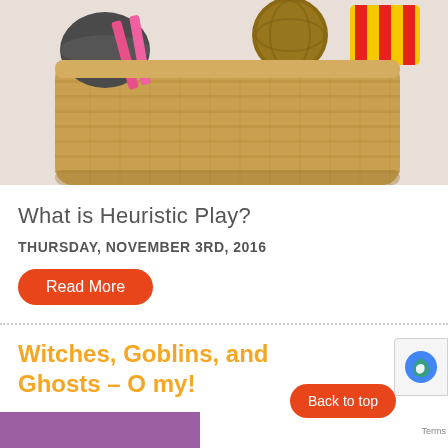[Figure (photo): A wicker basket filled with various everyday objects including a colander, pink spatulas, a ball of twine, a yellow and red striped cloth bag, and other household items — used for heuristic play.]
What is Heuristic Play?
THURSDAY, NOVEMBER 3RD, 2016
Read More
Witches, Goblins, and Ghosts – O my!
Back to top
Terms